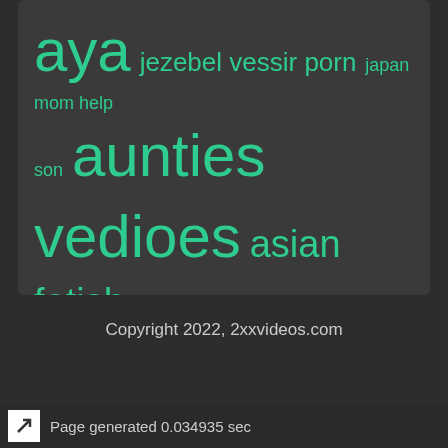[Figure (other): Tag cloud with teal/green colored search terms on dark gray background. Terms visible: aya, jezebel vessir porn, japan mom help, son, aunties vedioes, asian fetish, sex young, bangladesh youjizz com, crazzy sexx seal open sex, xxixh hd, small used]
Copyright 2022, 2xxvideos.com
Page generated 0.034935 sec